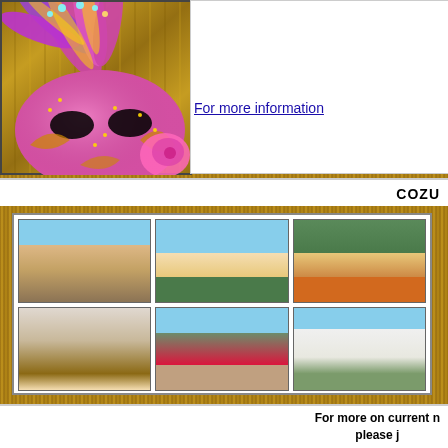[Figure (photo): Top section with golden/brown wood-texture background featuring a pink/purple carnival mask on the left, white content box on the right with a gray image placeholder, and a 'For more information' hyperlink]
For more information
COZU
[Figure (photo): Grid of 6 real estate property photos showing outdoor patio/deck with sea view, beachfront building, tropical garden with orange building, modern interior kitchen/dining, living room with sea view and red furniture, and white modern house exterior with palm trees. All set against gold/wood-textured background.]
For more on current n please j